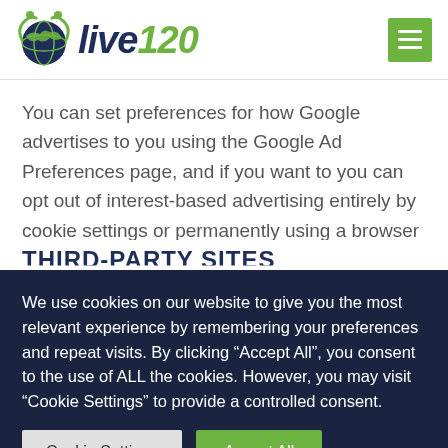[Figure (logo): live120 logo with globe icon and green/navy color scheme]
You can set preferences for how Google advertises to you using the Google Ad Preferences page, and if you want to you can opt out of interest-based advertising entirely by cookie settings or permanently using a browser plugin.
THIRD-PARTY SITES
We use cookies on our website to give you the most relevant experience by remembering your preferences and repeat visits. By clicking “Accept All”, you consent to the use of ALL the cookies. However, you may visit “Cookie Settings” to provide a controlled consent.